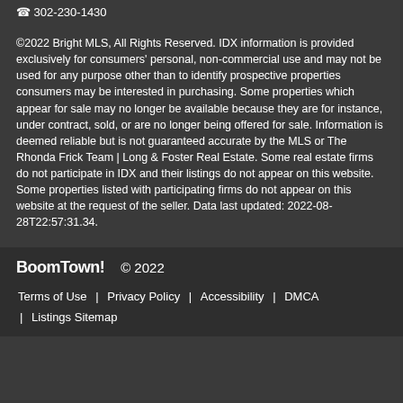302-230-1430
©2022 Bright MLS, All Rights Reserved. IDX information is provided exclusively for consumers' personal, non-commercial use and may not be used for any purpose other than to identify prospective properties consumers may be interested in purchasing. Some properties which appear for sale may no longer be available because they are for instance, under contract, sold, or are no longer being offered for sale. Information is deemed reliable but is not guaranteed accurate by the MLS or The Rhonda Frick Team | Long & Foster Real Estate. Some real estate firms do not participate in IDX and their listings do not appear on this website. Some properties listed with participating firms do not appear on this website at the request of the seller. Data last updated: 2022-08-28T22:57:31.34.
BoomTown! © 2022 | Terms of Use | Privacy Policy | Accessibility | DMCA | Listings Sitemap